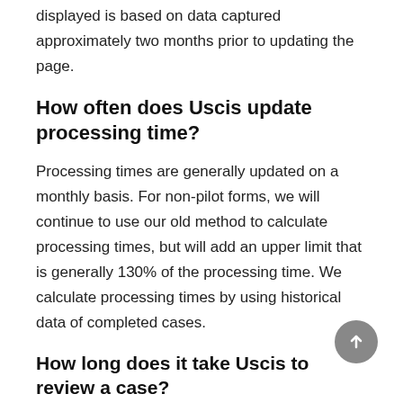displayed is based on data captured approximately two months prior to updating the page.
How often does Uscis update processing time?
Processing times are generally updated on a monthly basis. For non-pilot forms, we will continue to use our old method to calculate processing times, but will add an upper limit that is generally 130% of the processing time. We calculate processing times by using historical data of completed cases.
How long does it take Uscis to review a case?